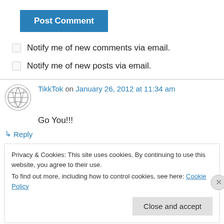[Figure (other): Blue 'Post Comment' button]
Notify me of new comments via email.
Notify me of new posts via email.
TikkTok on January 26, 2012 at 11:34 am
Go You!!!
↳ Reply
Privacy & Cookies: This site uses cookies. By continuing to use this website, you agree to their use. To find out more, including how to control cookies, see here: Cookie Policy
Close and accept